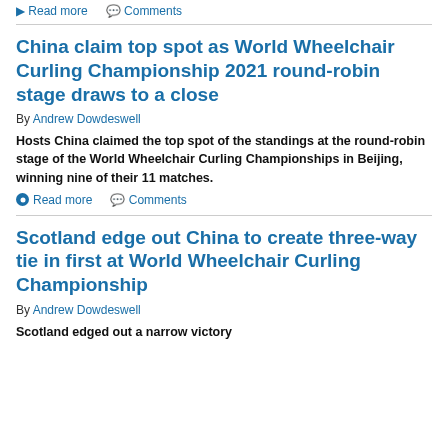Read more   Comments
China claim top spot as World Wheelchair Curling Championship 2021 round-robin stage draws to a close
By Andrew Dowdeswell
Hosts China claimed the top spot of the standings at the round-robin stage of the World Wheelchair Curling Championships in Beijing, winning nine of their 11 matches.
Read more   Comments
Scotland edge out China to create three-way tie in first at World Wheelchair Curling Championship
By Andrew Dowdeswell
Scotland edged out a narrow victory